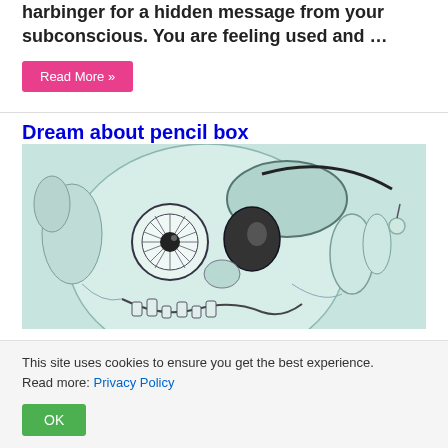harbinger for a hidden message from your subconscious. You are feeling used and …
Read More »
Dream about pencil box
[Figure (illustration): Pencil sketch illustration of a surreal skull-like creature with a large circular eye, jagged teeth, and organic forms, rendered in light teal/grey tones.]
This site uses cookies to ensure you get the best experience. Read more: Privacy Policy
OK